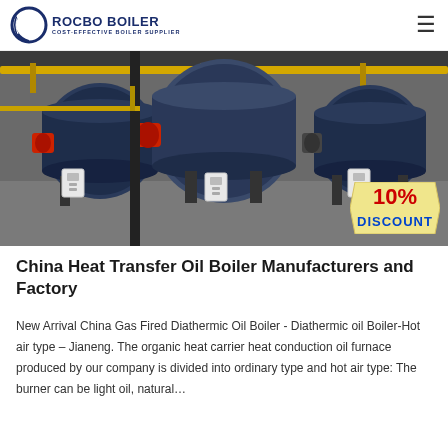ROCBO BOILER - COST-EFFECTIVE BOILER SUPPLIER
[Figure (photo): Industrial boiler facility showing three large cylindrical blue/gray boilers with red burners, yellow overhead piping, control panels, in an industrial building. A '10% DISCOUNT' badge overlay appears in the bottom-right corner.]
China Heat Transfer Oil Boiler Manufacturers and Factory
New Arrival China Gas Fired Diathermic Oil Boiler - Diathermic oil Boiler-Hot air type – Jianeng. The organic heat carrier heat conduction oil furnace produced by our company is divided into ordinary type and hot air type: The burner can be light oil, natural…